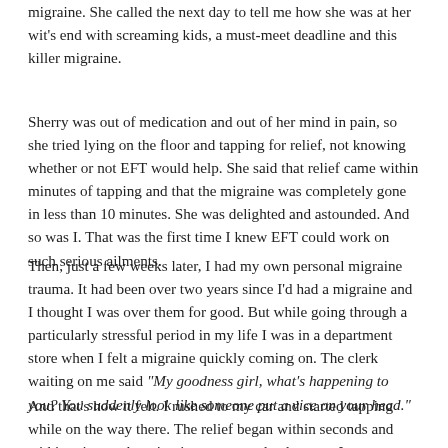migraine. She called the next day to tell me how she was at her wit's end with screaming kids, a must-meet deadline and this killer migraine.
Sherry was out of medication and out of her mind in pain, so she tried lying on the floor and tapping for relief, not knowing whether or not EFT would help. She said that relief came within minutes of tapping and that the migraine was completely gone in less than 10 minutes. She was delighted and astounded. And so was I. That was the first time I knew EFT could work on such serious ailments.
Then, just a few weeks later, I had my own personal migraine trauma. It had been over two years since I'd had a migraine and I thought I was over them for good. But while going through a particularly stressful period in my life I was in a department store when I felt a migraine quickly coming on. The clerk waiting on me said “My goodness girl, what’s happening to you? You suddenly look like someone put a vice on your head.”
And that’s how it felt. I rushed to my car and started tapping while on the way there. The relief began within seconds and within minutes the migraine was completely gone. It was so quickly